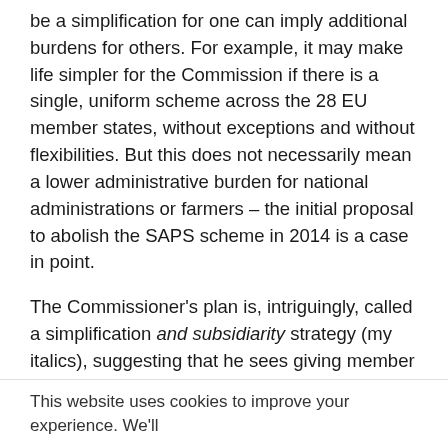be a simplification for one can imply additional burdens for others. For example, it may make life simpler for the Commission if there is a single, uniform scheme across the 28 EU member states, without exceptions and without flexibilities. But this does not necessarily mean a lower administrative burden for national administrations or farmers – the initial proposal to abolish the SAPS scheme in 2014 is a case in point.
The Commissioner's plan is, intriguingly, called a simplification and subsidiarity strategy (my italics), suggesting that he sees giving member states greater flexibility in implementing the CAP as a route to lower administrative burdens. Indeed,
This website uses cookies to improve your experience. We'll